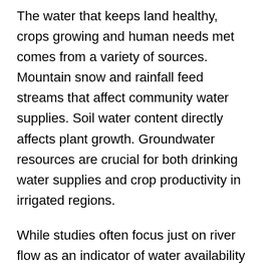The water that keeps land healthy, crops growing and human needs met comes from a variety of sources. Mountain snow and rainfall feed streams that affect community water supplies. Soil water content directly affects plant growth. Groundwater resources are crucial for both drinking water supplies and crop productivity in irrigated regions.
While studies often focus just on river flow as an indicator of water availability and drought, our study instead provides a holistic picture of the changes in total water available on land. That allows us to capture nuances, such as the ability of forests to draw water from deep groundwater sources during years when the upper soil levels are drier.
The declines we found in land water storage are